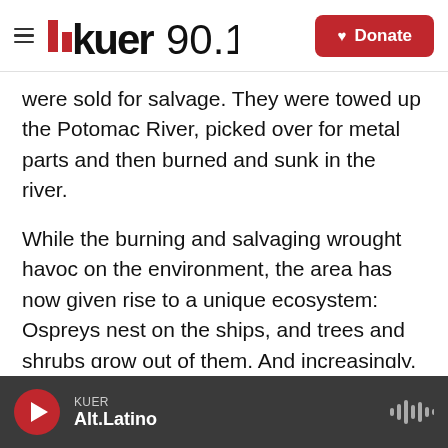KUER 90.1 | Donate
were sold for salvage. They were towed up the Potomac River, picked over for metal parts and then burned and sunk in the river.
While the burning and salvaging wrought havoc on the environment, the area has now given rise to a unique ecosystem: Ospreys nest on the ships, and trees and shrubs grow out of them. And increasingly, tourists are exploring the wrecks by kayak and canoe.
"It's a really cool place to kayak around," says Joel Dunn, president of the Chesapeake
KUER | Alt.Latino